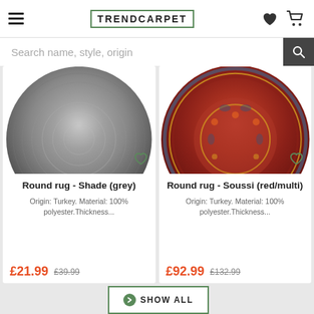TRENDCARPET
[Figure (screenshot): Search bar with text 'Search name, style, origin' and a dark search button with magnifying glass icon]
[Figure (photo): Round grey rug - Shade (grey), partially cropped circle]
Round rug - Shade (grey)
Origin: Turkey. Material: 100% polyester.Thickness...
£21.99  £39.99
[Figure (photo): Round red/multi patterned rug - Soussi (red/multi), partially cropped circle with ornate Persian-style design]
Round rug - Soussi (red/multi)
Origin: Turkey. Material: 100% polyester.Thickness...
£92.99  £132.99
SHOW ALL